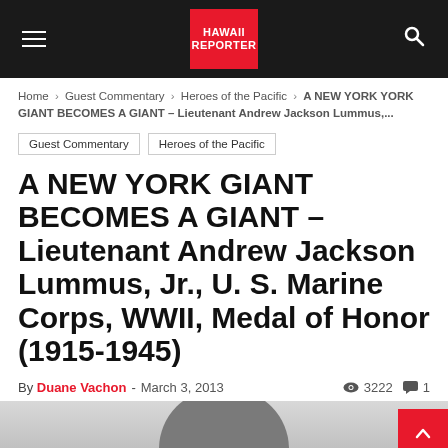HAWAII REPORTER
Home > Guest Commentary > Heroes of the Pacific > A NEW YORK GIANT BECOMES A GIANT – Lieutenant Andrew Jackson Lummus,...
Guest Commentary
Heroes of the Pacific
A NEW YORK GIANT BECOMES A GIANT – Lieutenant Andrew Jackson Lummus, Jr., U. S. Marine Corps, WWII, Medal of Honor (1915-1945)
By Duane Vachon - March 3, 2013  3222  1
[Figure (photo): Black and white photograph partially visible at bottom of page, appears to show a person or bust]